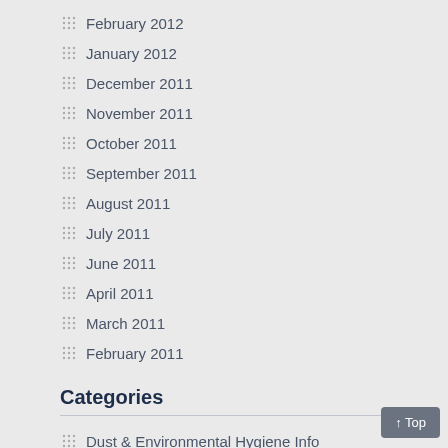February 2012
January 2012
December 2011
November 2011
October 2011
September 2011
August 2011
July 2011
June 2011
April 2011
March 2011
February 2011
Categories
Dust & Environmental Hygiene Info
Dust Monitoring Equipment
Knowledge Base
News
Uncategorized
Meta